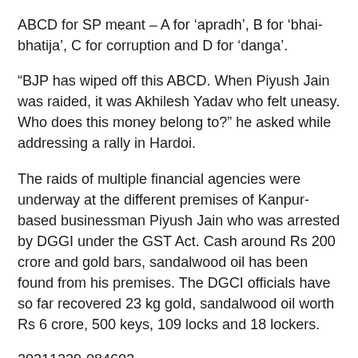ABCD for SP meant – A for 'apradh', B for 'bhai-bhatija', C for corruption and D for 'danga'.
“BJP has wiped off this ABCD. When Piyush Jain was raided, it was Akhilesh Yadav who felt uneasy. Who does this money belong to?” he asked while addressing a rally in Hardoi.
The raids of multiple financial agencies were underway at the different premises of Kanpur-based businessman Piyush Jain who was arrested by DGGI under the GST Act. Cash around Rs 200 crore and gold bars, sandalwood oil has been found from his premises. The DGCI officials have so far recovered 23 kg gold, sandalwood oil worth Rs 6 crore, 500 keys, 109 locks and 18 lockers.
20211229-084603